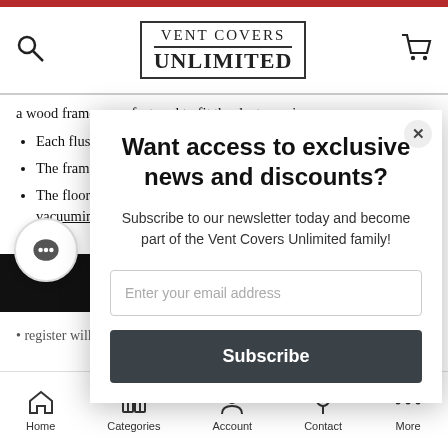Vent Covers Unlimited
a wood frame manufactured to fit the duct opening.
Each flush mount installed along w retrofit into an e
The frame is nail can be lifted out f
The floor vent fa be equipped with control thumbwh vacuuming easy
Want access to exclusive news and discounts?
Subscribe to our newsletter today and become part of the Vent Covers Unlimited family!
Enter your email address
Subscribe
Home  Categories  Account  Contact  More